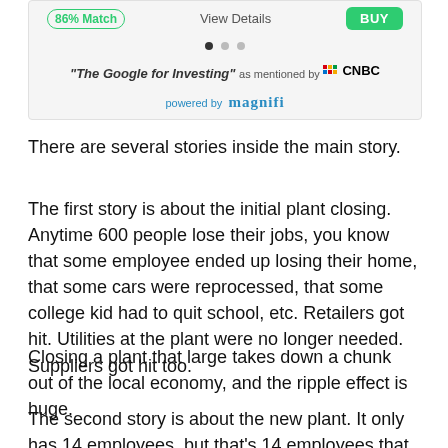[Figure (screenshot): App screenshot showing 86% Match badge, View Details link, BUY button, dot pagination indicators, quote 'The Google for Investing' as mentioned by CNBC, powered by magnifi]
There are several stories inside the main story.
The first story is about the initial plant closing. Anytime 600 people lose their jobs, you know that some employee ended up losing their home, that some cars were reprocessed, that some college kid had to quit school, etc. Retailers got hit. Utilities at the plant were no longer needed. Suppliers got hit too.
Closing a plant that large takes down a chunk out of the local economy, and the ripple effect is huge.
The second story is about the new plant. It only has 14 employees, but that's 14 employees that were not there